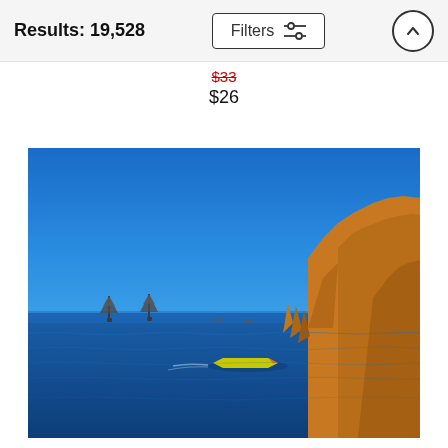Results: 19,528
$33 (strikethrough) $26
[Figure (photo): Seascape photo showing deep blue ocean water with rocky coastal cliffs on the right side, two tall sailing ships in the distance on the left, and a small yellow speedboat in the foreground. Clear blue sky above.]